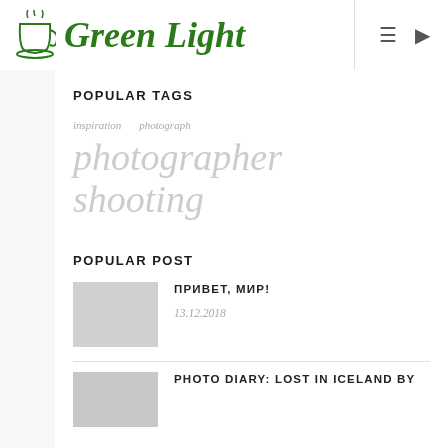[Figure (logo): Green Light blog logo with coffee cup icon and green cursive text]
POPULAR TAGS
inspiration   photograph
photographer
shooting
POPULAR POST
ПРИВЕТ, МИР!
13.12.2018
PHOTO DIARY: LOST IN ICELAND BY